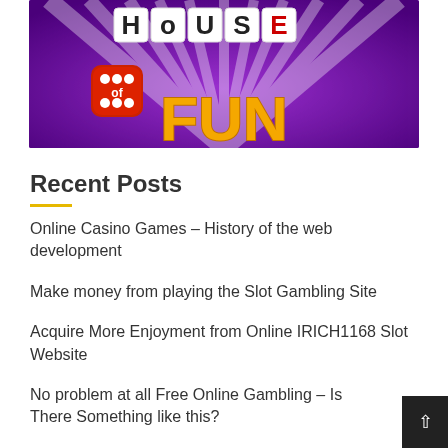[Figure (illustration): House of Fun casino slot game logo banner on purple background with rays, showing 'House of Fun' text with dice graphic]
Recent Posts
Online Casino Games – History of the web development
Make money from playing the Slot Gambling Site
Acquire More Enjoyment from Online IRICH1168 Slot Website
No problem at all Free Online Gambling – Is There Something like this?